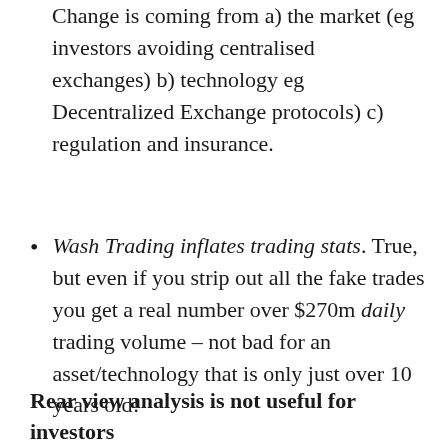Change is coming from a) the market (eg investors avoiding centralised exchanges) b) technology eg Decentralized Exchange protocols) c) regulation and insurance.
Wash Trading inflates trading stats. True, but even if you strip out all the fake trades you get a real number over $270m daily trading volume – not bad for an asset/technology that is only just over 10 years old!
Rear view analysis is not useful for investors